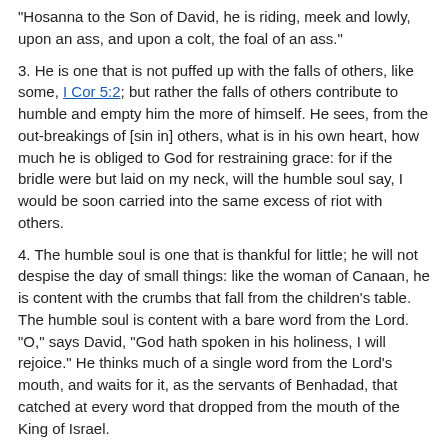"Hosanna to the Son of David, he is riding, meek and lowly, upon an ass, and upon a colt, the foal of an ass."
3. He is one that is not puffed up with the falls of others, like some, I Cor 5:2; but rather the falls of others contribute to humble and empty him the more of himself. He sees, from the out-breakings of [sin in] others, what is in his own heart, how much he is obliged to God for restraining grace: for if the bridle were but laid on my neck, will the humble soul say, I would be soon carried into the same excess of riot with others.
4. The humble soul is one that is thankful for little; he will not despise the day of small things: like the woman of Canaan, he is content with the crumbs that fall from the children's table. The humble soul is content with a bare word from the Lord. "O," says David, "God hath spoken in his holiness, I will rejoice." He thinks much of a single word from the Lord's mouth, and waits for it, as the servants of Benhadad, that catched at every word that dropped from the mouth of the King of Israel.
5. The humble soul is content and desirous to know what is God's will, that he may do it. Paul is no sooner humbled, but he cries, "Lord, what wilt thou have me to do?" Give grace to obey, and command what thou wilt.
V. The fifth thing in the method was, to offer some motives to press and recommend this lowliness and humility of spirit.